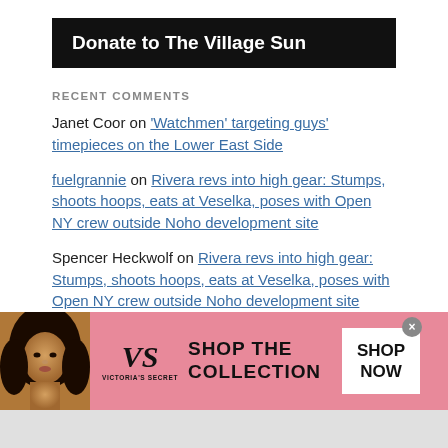[Figure (other): Black banner with white bold text 'Donate to The Village Sun']
RECENT COMMENTS
Janet Coor on 'Watchmen' targeting guys' timepieces on the Lower East Side
fuelgrannie on Rivera revs into high gear: Stumps, shoots hoops, eats at Veselka, poses with Open NY crew outside Noho development site
Spencer Heckwolf on Rivera revs into high gear: Stumps, shoots hoops, eats at Veselka, poses with Open NY crew outside Noho development site
John K. on Rivera revs into high gear: Stumps, shoots...
[Figure (advertisement): Victoria's Secret advertisement banner with pink background, model photo, VS logo, 'SHOP THE COLLECTION' text, and 'SHOP NOW' button]